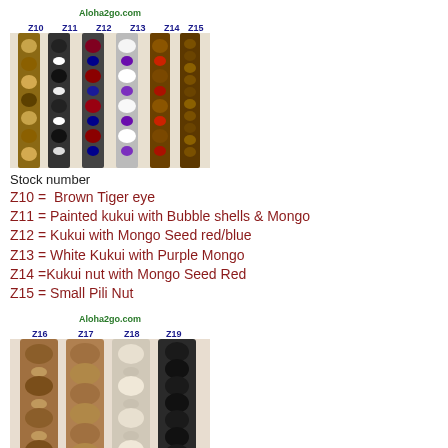[Figure (photo): Photo of multiple kukui nut and seed necklaces labeled Z10 through Z15, with Aloha2go.com watermark]
Stock number
Z10 =  Brown Tiger eye
Z11 = Painted kukui with Bubble shells & Mongo
Z12 = Kukui with Mongo Seed red/blue
Z13 = White Kukui with Purple Mongo
Z14 =Kukui nut with Mongo Seed Red
Z15 = Small Pili Nut
[Figure (photo): Photo of multiple kukui nut and seed necklaces labeled Z16 through Z19, with Aloha2go.com watermark]
Stock number
Z16 = Pili with Mongo
Z17 = Big Pili